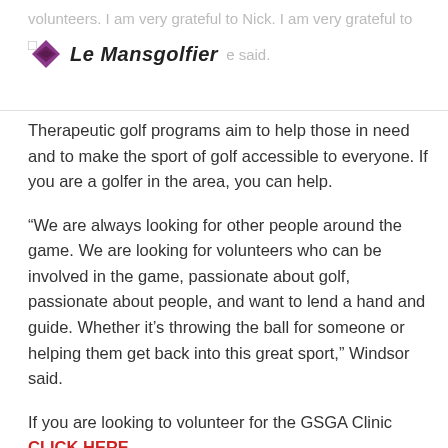volunteers. I am very grateful to Nick. I am very grateful to everyone who gives… Le Mansgolfier …said.
Therapeutic golf programs aim to help those in need and to make the sport of golf accessible to everyone. If you are a golfer in the area, you can help.
“We are always looking for other people around the game. We are looking for volunteers who can be involved in the game, passionate about golf, passionate about people, and want to lend a hand and guide. Whether it’s throwing the ball for someone or helping them get back into this great sport,” Windsor said.
If you are looking to volunteer for the GSGA Clinic CLICK HERE.
Related Posts: